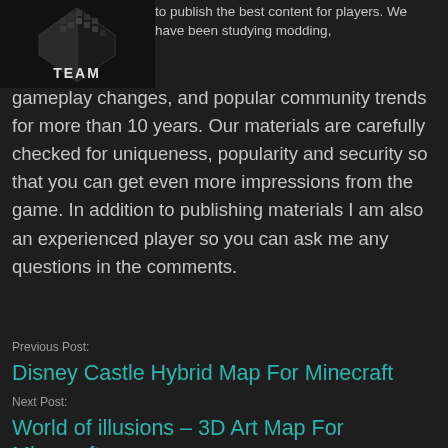[Figure (logo): Dark pixelated logo with text 'TEAM' on dark background]
to publish the best content for players. We have been studying modding, gameplay changes, and popular community trends for more than 10 years. Our materials are carefully checked for uniqueness, popularity and security so that you can get even more impressions from the game. In addition to publishing materials I am also an experienced player so you can ask me any questions in the comments.
Previous Post:
Disney Castle Hybrid Map For Minecraft
Next Post:
World of illusions – 3D Art Map For Minecraft